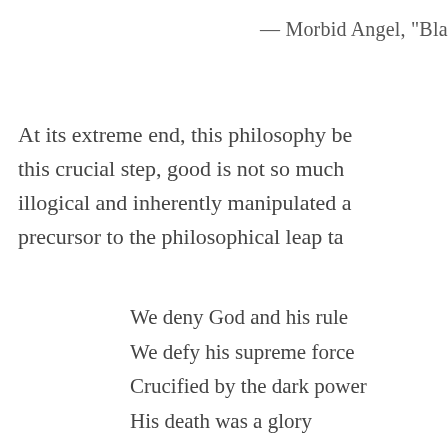— Morbid Angel, "Blasphemy" (A
At its extreme end, this philosophy be this crucial step, good is not so much illogical and inherently manipulated a precursor to the philosophical leap ta
We deny God and his rule
We defy his supreme force
Crucified by the dark power
His death was a glory
Forgotten by our mind forever
He's left the churches to torment